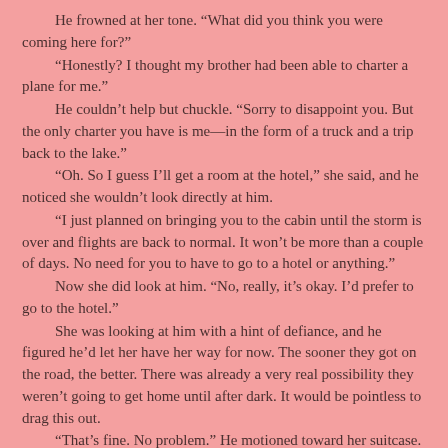He frowned at her tone. “What did you think you were coming here for?”
“Honestly? I thought my brother had been able to charter a plane for me.”
He couldn’t help but chuckle. “Sorry to disappoint you. But the only charter you have is me—in the form of a truck and a trip back to the lake.”
“Oh. So I guess I’ll get a room at the hotel,” she said, and he noticed she wouldn’t look directly at him.
“I just planned on bringing you to the cabin until the storm is over and flights are back to normal. It won’t be more than a couple of days. No need for you to have to go to a hotel or anything.”
Now she did look at him. “No, really, it’s okay. I’d prefer to go to the hotel.”
She was looking at him with a hint of defiance, and he figured he’d let her have her way for now. The sooner they got on the road, the better. There was already a very real possibility they weren’t going to get home until after dark. It would be pointless to drag this out.
“That’s fine. No problem.” He motioned toward her suitcase. “I’ll take that for you. Let’s get going.”
“Oh.”
Ben could hear the relief in her voice and smiled to himself. For a joke, he thought, she was a pretty terrible...